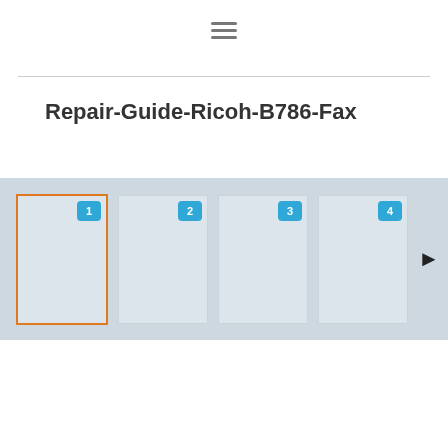[Figure (screenshot): Hamburger menu icon (three horizontal lines) centered near top of page]
Repair-Guide-Ricoh-B786-Fax
[Figure (screenshot): Document thumbnail strip showing 4 page thumbnails numbered 1-4. Page 1 is highlighted with an orange border. Pages 2, 3, 4 have blue number badges. A right-arrow navigation button is visible at the right edge.]